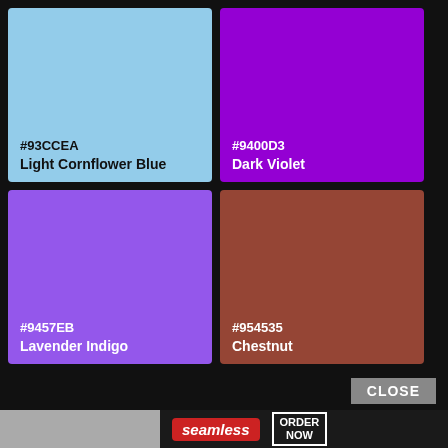[Figure (infographic): Color swatch: #93CCEA Light Cornflower Blue]
[Figure (infographic): Color swatch: #9400D3 Dark Violet]
[Figure (infographic): Color swatch: #9457EB Lavender Indigo]
[Figure (infographic): Color swatch: #954535 Chestnut]
CLOSE
[Figure (photo): Seamless food delivery advertisement banner with pizza image, Seamless logo in red, and ORDER NOW button]